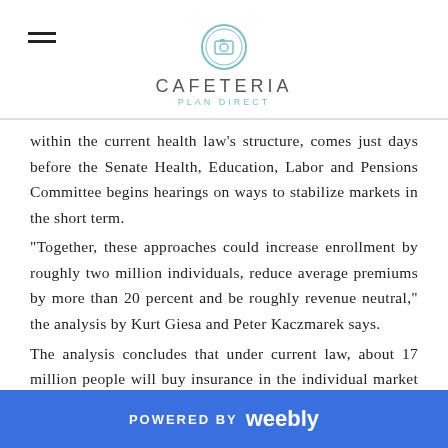CAFETERIA PLAN DIRECT
within the current health law's structure, comes just days before the Senate Health, Education, Labor and Pensions Committee begins hearings on ways to stabilize markets in the short term.
"Together, these approaches could increase enrollment by roughly two million individuals, reduce average premiums by more than 20 percent and be roughly revenue neutral," the analysis by Kurt Giesa and Peter Kaczmarek says.
The analysis concludes that under current law, about 17 million people will buy insurance in the individual market next year, many of them outside the ACA marketplaces. If the four actions outlined in the paper are implemented, about 19 million people would buy individual insurance, the study finds.
POWERED BY weebly